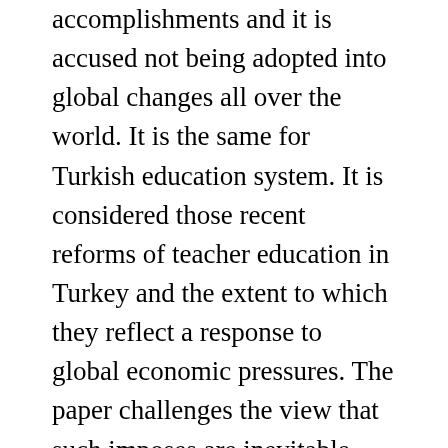accomplishments and it is accused not being adopted into global changes all over the world. It is the same for Turkish education system. It is considered those recent reforms of teacher education in Turkey and the extent to which they reflect a response to global economic pressures. The paper challenges the view that such imposes are inevitable determinants of educational policy and argues that any country will need to develop its own national approach to modernizing teacher education in light of the global context and its particular circumstances. It draws on the idea of reflexive modernization developed by educators and discusses its implications for teacher education policy. The paper deals with four themes teacher education in last decade policy in Turkey; the shift away from the educational disciplines, the shift towards school-based approaches, and the emergence of more centralized forms of accountability of teacher competence.